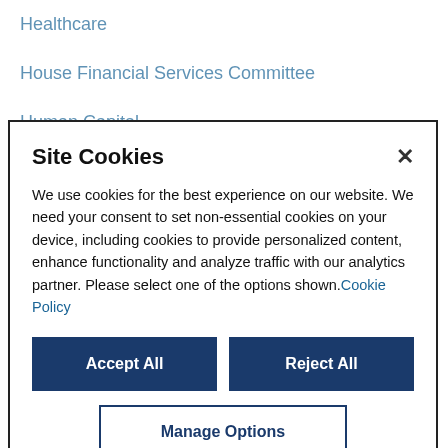Healthcare
House Financial Services Committee
Human Capital
Site Cookies

We use cookies for the best experience on our website. We need your consent to set non-essential cookies on your device, including cookies to provide personalized content, enhance functionality and analyze traffic with our analytics partner. Please select one of the options shown. Cookie Policy

[Accept All] [Reject All]
[Manage Options]
Liability Management